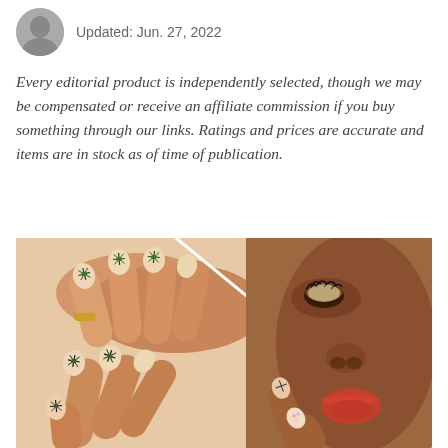Updated: Jun. 27, 2022
Every editorial product is independently selected, though we may be compensated or receive an affiliate commission if you buy something through our links. Ratings and prices are accurate and items are in stock as of time of publication.
[Figure (photo): Collage of two beauty images: left side shows close-up of hands with nude almond-shaped nails decorated with small green star/bug nail art designs, model wearing a gold ring; right side shows close-up of a woman's face with dramatic eye makeup and red lips, touching her fingernails which have decorative nail art.]